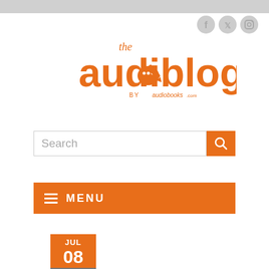[Figure (logo): Social media icons: Facebook, Twitter, Instagram in light gray circles]
[Figure (logo): The Audioblog logo by audiobooks.com - orange stylized text with speech bubble and microphone icon]
[Figure (screenshot): Search bar with orange search button]
[Figure (infographic): Orange MENU navigation bar with hamburger icon lines]
[Figure (infographic): Date badge showing JUL 08 2013 in orange and gray]